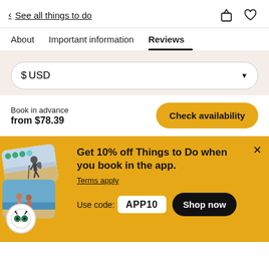< See all things to do
About   Important information   Reviews
$USD
Book in advance
from $78.39
Check availability
[Figure (screenshot): Promotional app banner with travel photos]
Get 10% off Things to Do when you book in the app.
Terms apply
Use code: APP10
Shop now